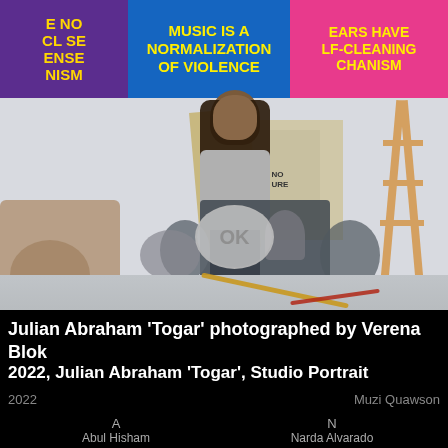[Figure (photo): Studio portrait of Julian Abraham 'Togar' standing among drums, speakers, megaphones and colorful text signs. Signs read 'MUSIC IS A NORMALIZATION OF VIOLENCE', 'EARS HAVE SELF-CLEANING MECHANISM'. Photographed by Verena Blok.]
Julian Abraham 'Togar' photographed by Verena Blok
2022, Julian Abraham 'Togar', Studio Portrait
2022    Muzi Quawson
A
Abul Hisham
Ada Darmawan
N
Narda Alvarado
Nicole Ti...